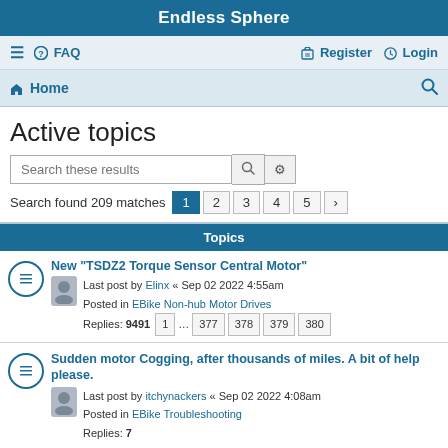Endless Sphere
≡ ❓ FAQ    Register  Login
🏠 Home
Active topics
Search these results
Search found 209 matches  1 2 3 4 5 >
Topics
New "TSDZ2 Torque Sensor Central Motor"
Last post by Elinx « Sep 02 2022 4:55am
Posted in EBike Non-hub Motor Drives
Replies: 9491   1 … 377 378 379 380
Sudden motor Cogging, after thousands of miles. A bit of help please.
Last post by itchynackers « Sep 02 2022 4:08am
Posted in EBike Troubleshooting
Replies: 7
Bosch Batteries
Last post by tom355 « Sep 02 2022 4:02am
Posted in Battery Technology